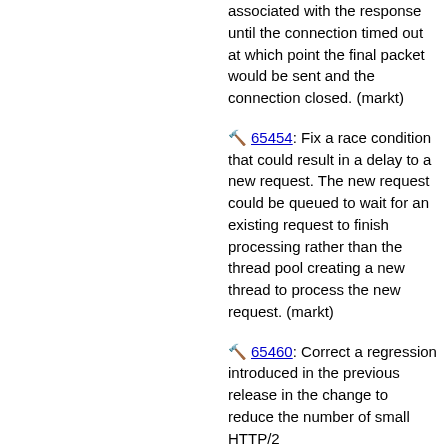associated with the response until the connection timed out at which point the final packet would be sent and the connection closed. (markt)
65454: Fix a race condition that could result in a delay to a new request. The new request could be queued to wait for an existing request to finish processing rather than the thread pool creating a new thread to process the new request. (markt)
65460: Correct a regression introduced in the previous release in the change to reduce the number of small HTTP/2